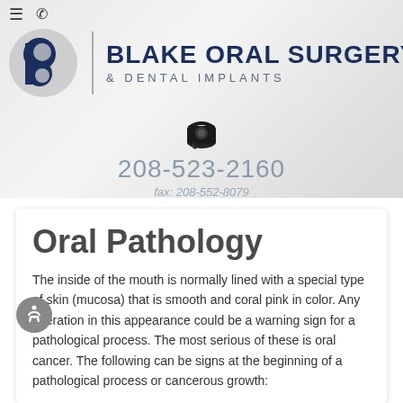[Figure (logo): Blake Oral Surgery & Dental Implants logo with circular B icon, vertical divider, and text]
208-523-2160
fax: 208-552-8079
Oral Pathology
The inside of the mouth is normally lined with a special type of skin (mucosa) that is smooth and coral pink in color. Any alteration in this appearance could be a warning sign for a pathological process. The most serious of these is oral cancer. The following can be signs at the beginning of a pathological process or cancerous growth: